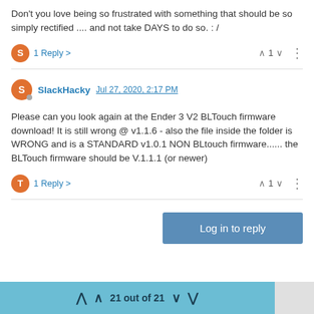Don't you love being so frustrated with something that should be so simply rectified .... and not take DAYS to do so. : /
1 Reply >   ^ 1 v  ⋮
SlackHacky  Jul 27, 2020, 2:17 PM
Please can you look again at the Ender 3 V2 BLTouch firmware download! It is still wrong @ v1.1.6 - also the file inside the folder is WRONG and is a STANDARD v1.0.1 NON BLtouch firmware...... the BLTouch firmware should be V.1.1.1 (or newer)
1 Reply >   ^ 1 v  ⋮
Log in to reply
21 out of 21